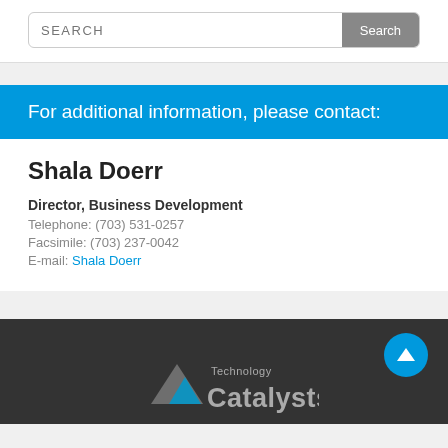[Figure (screenshot): Search bar with placeholder text SEARCH and a grey Search button on the right]
For additional information, please contact:
Shala Doerr
Director, Business Development
Telephone: (703) 531-0257
Facsimile: (703) 237-0042
E-mail: Shala Doerr
[Figure (logo): Technology Catalysts logo in footer with dark background]